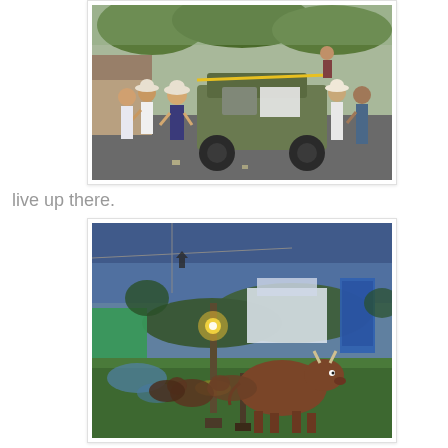[Figure (photo): Outdoor scene with people in hats standing around a military armored vehicle on a paved area with trees in background. Some people hold signs.]
live up there.
[Figure (photo): Evening/dusk outdoor scene with cattle (brown cows) standing on green grass near a fence with a street light glowing. Blue-tinted sky and hills in background.]